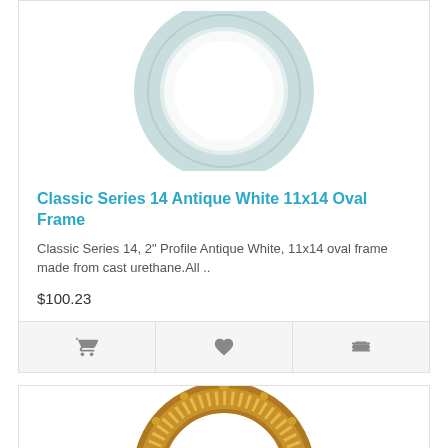[Figure (photo): Light blue/antique white oval decorative picture frame, partially visible, cropped at top]
Classic Series 14 Antique White 11x14 Oval Frame
Classic Series 14, 2" Profile Antique White, 11x14 oval frame made from cast urethane.All ..
$100.23
[Figure (photo): Gold ornate oval decorative picture frame, partially visible, cropped at bottom]